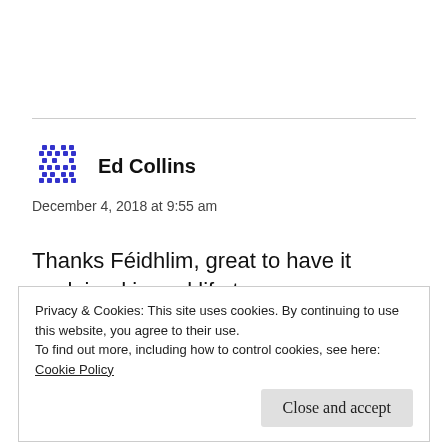[Figure (illustration): Gravatar avatar icon for Ed Collins — blue pixelated/dotted grid pattern icon]
Ed Collins
December 4, 2018 at 9:55 am
Thanks Féidhlim, great to have it explained in real life terms.
Privacy & Cookies: This site uses cookies. By continuing to use this website, you agree to their use.
To find out more, including how to control cookies, see here:
Cookie Policy
Close and accept